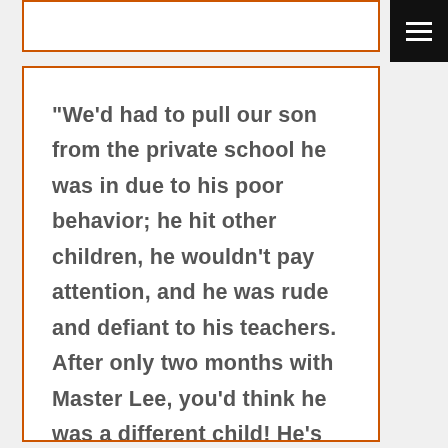"We'd had to pull our son from the private school he was in due to his poor behavior; he hit other children, he wouldn't pay attention, and he was rude and defiant to his teachers. After only two months with Master Lee, you'd think he was a different child! He's